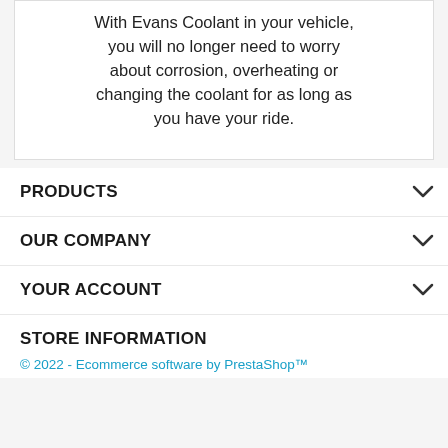With Evans Coolant in your vehicle, you will no longer need to worry about corrosion, overheating or changing the coolant for as long as you have your ride.
PRODUCTS
OUR COMPANY
YOUR ACCOUNT
STORE INFORMATION
© 2022 - Ecommerce software by PrestaShop™